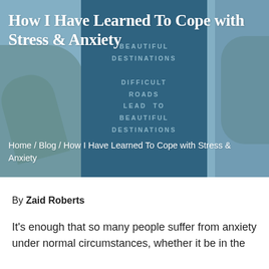[Figure (photo): Hero image with blue-tinted background showing a sign board reading 'DIFFICULT ROADS LEAD TO BEAUTIFUL DESTINATIONS' with plant leaves visible on left and right sides]
How I Have Learned To Cope with Stress & Anxiety
Home / Blog / How I Have Learned To Cope with Stress & Anxiety
By Zaid Roberts
It's enough that so many people suffer from anxiety under normal circumstances, whether it be in the